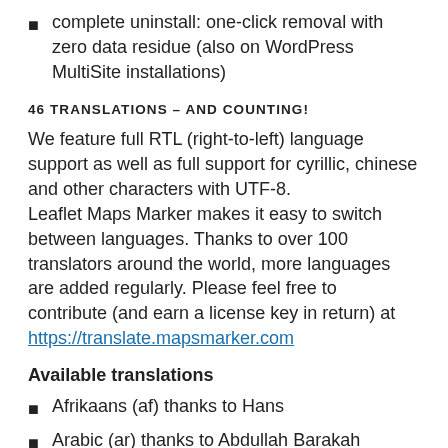complete uninstall: one-click removal with zero data residue (also on WordPress MultiSite installations)
46 TRANSLATIONS – AND COUNTING!
We feature full RTL (right-to-left) language support as well as full support for cyrillic, chinese and other characters with UTF-8.
Leaflet Maps Marker makes it easy to switch between languages. Thanks to over 100 translators around the world, more languages are added regularly. Please feel free to contribute (and earn a license key in return) at https://translate.mapsmarker.com
Available translations
Afrikaans (af) thanks to Hans
Arabic (ar) thanks to Abdullah Barakah Abdullah